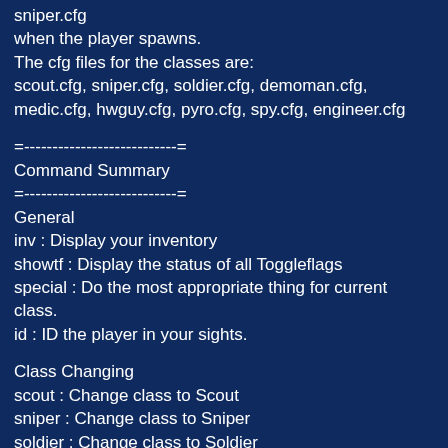sniper.cfg
when the player spawns.
The cfg files for the classes are:
scout.cfg, sniper.cfg, soldier.cfg, demoman.cfg, medic.cfg, hwguy.cfg, pyro.cfg, spy.cfg, engineer.cfg
=---------------------------=
Command Summary
=---------------------------=
General
inv : Display your inventory
showtf : Display the status of all Toggleflags
special : Do the most appropriate thing for current class.
id : ID the player in your sights.
Class Changing
scout : Change class to Scout
sniper : Change class to Sniper
soldier : Change class to Soldier
demoman : Change class to Demolitions Man
medic : Change class to Combat Medic
hwguy : Change class to Heavy Weapons Guy
pyro : Change class to Pyro
spy : Change class to Spy
engineer : Change class to Engineer